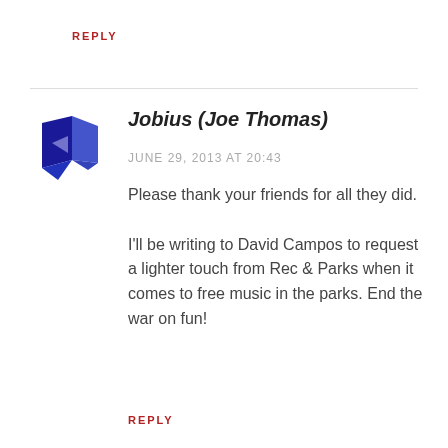REPLY
[Figure (logo): Blue ribbon/arrow shaped logo icon for Jobius]
Jobius (Joe Thomas)
JUNE 29, 2013 AT 20:43
Please thank your friends for all they did.

I'll be writing to David Campos to request a lighter touch from Rec & Parks when it comes to free music in the parks. End the war on fun!
REPLY